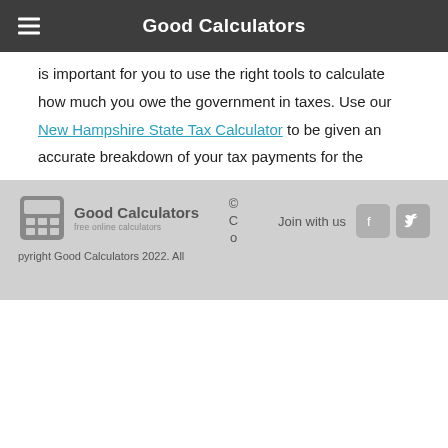Good Calculators
is important for you to use the right tools to calculate how much you owe the government in taxes. Use our New Hampshire State Tax Calculator to be given an accurate breakdown of your tax payments for the current tax year.
© Copyright Good Calculators 2022. All